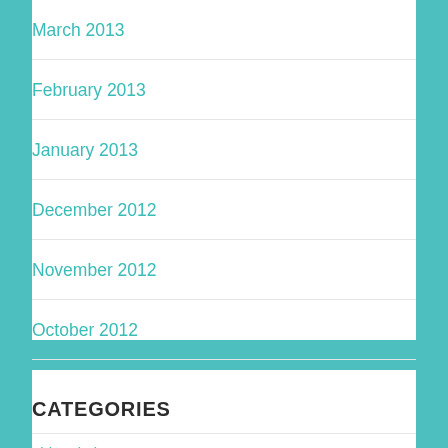March 2013
February 2013
January 2013
December 2012
November 2012
October 2012
September 2012
August 2012
CATEGORIES
abbreviations